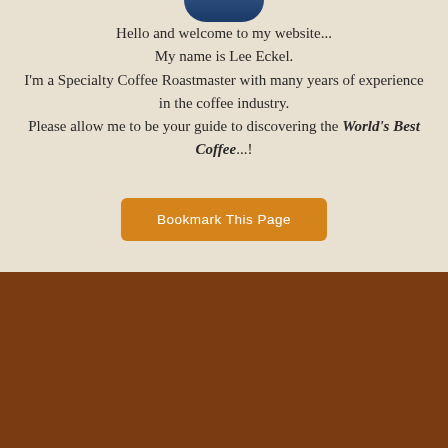[Figure (photo): Partial profile photo at top of page, showing bottom portion of a person against a blue background]
Hello and welcome to my website...
My name is Lee Eckel.
I'm a Specialty Coffee Roastmaster with many years of experience in the coffee industry.
Please allow me to be your guide to discovering the World's Best Coffee...!
Bookmark This Page
COPYRIGHT NOTICE: SPECIALTY-COFFEE-ADVISOR.COM | © AND TRADEMARK 2011 - 2019, SPECIALTY COFFEE ADVISOR LLC | ALL RIGHTS RESERVED